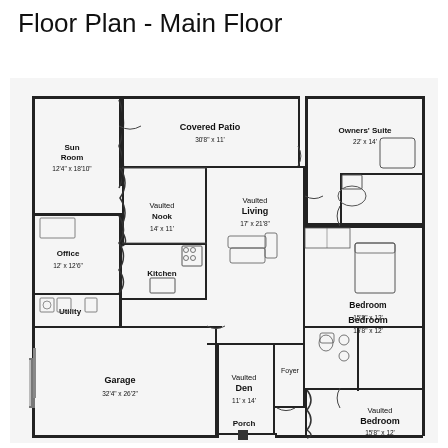Floor Plan - Main Floor
[Figure (engineering-diagram): Main floor architectural floor plan showing: Covered Patio (30'8" x 11'), Sun Room (12'4" x 18'10"), Owners' Suite (22' x 14'), Vaulted Nook (14' x 11'), Office (12' x 12'6"), Kitchen, Vaulted Living (17' x 21'8"), Utility, Bedroom (15'8" x 12'), Vaulted Den (11' x 14'), Foyer, Garage (32'4" x 26'2"), Porch, Vaulted Bedroom (15'8" x 12')]